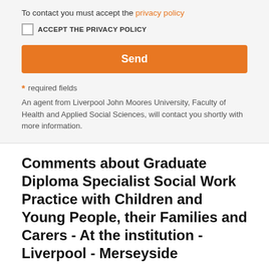To contact you must accept the privacy policy
ACCEPT THE PRIVACY POLICY
Send
* required fields
An agent from Liverpool John Moores University, Faculty of Health and Applied Social Sciences, will contact you shortly with more information.
Comments about Graduate Diploma Specialist Social Work Practice with Children and Young People, their Families and Carers - At the institution - Liverpool - Merseyside
Objectives
This programme aims to enable qualified social workers to enhance their practice with Children and Young People, their Families and Carers, by developing their knowledge and skills